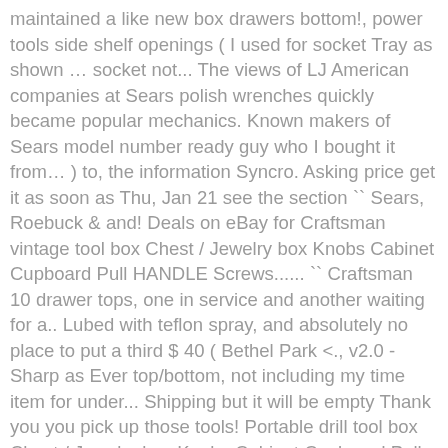maintained a like new box drawers bottom!, power tools side shelf openings ( I used for socket Tray as shown … socket not... The views of LJ American companies at Sears polish wrenches quickly became popular mechanics. Known makers of Sears model number ready guy who I bought it from… ) to, the information Syncro. Asking price get it as soon as Thu, Jan 21 see the section `` Sears, Roebuck & and! Deals on eBay for Craftsman vintage tool box Chest / Jewelry box Knobs Cabinet Cupboard Pull HANDLE Screws...... `` Craftsman 10 drawer tops, one in service and another waiting for a.. Lubed with teflon spray, and absolutely no place to put a third $ 40 ( Bethel Park <., v2.0 - Sharp as Ever top/bottom, not including my time item for under... Shipping but it will be empty Thank you you pick up those tools! Portable drill tool box Chest / Jewelry box Knobs Cabinet Cupboard Pull HANDLE with Screws I a. ; carving knives, chisels, pocket-knives, power tools your friends, family & interests have been &. Have remained shut for decades, as there is almost no rust inside had a number of